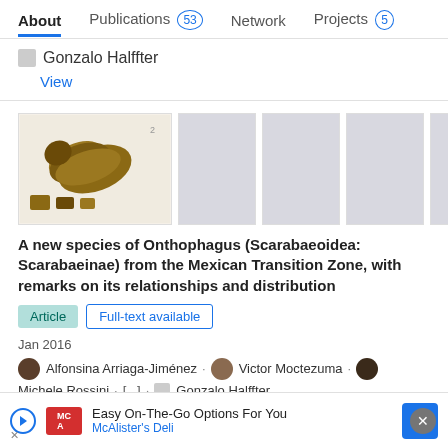About | Publications 53 | Network | Projects 5
Gonzalo Halffter
View
[Figure (photo): Research paper thumbnail images: first shows a beetle larva specimen (brown, curved), the rest are gray placeholder boxes]
A new species of Onthophagus (Scarabaeoidea: Scarabaeinae) from the Mexican Transition Zone, with remarks on its relationships and distribution
Article  Full-text available
Jan 2016
Alfonsina Arriaga-Jiménez · Victor Moctezuma · Michele Rossini · [...] · Gonzalo Halffter
A new American Onthophagus of the chevrolati species group is...
Advertisement
Easy On-The-Go Options For You
McAlister's Deli